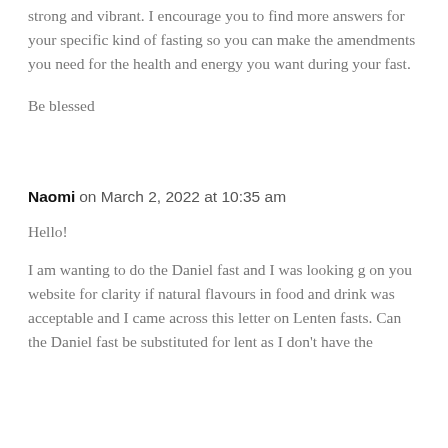strong and vibrant. I encourage you to find more answers for your specific kind of fasting so you can make the amendments you need for the health and energy you want during your fast.
Be blessed
Naomi on March 2, 2022 at 10:35 am
Hello!
I am wanting to do the Daniel fast and I was looking g on you website for clarity if natural flavours in food and drink was acceptable and I came across this letter on Lenten fasts. Can the Daniel fast be substituted for lent as I don't have the